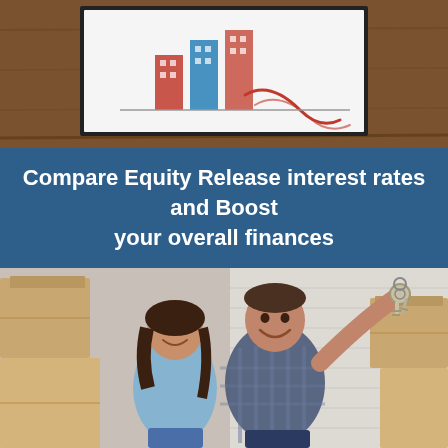[Figure (illustration): Top portion of page showing a framed illustration on a wooden desk background, featuring a bar/building chart graphic with red decorative lines]
Compare Equity Release interest rates and Boost your overall finances
[Figure (photo): Photo of a smiling couple sitting against a white brick wall with moving boxes, the man holding up house keys toward the camera]